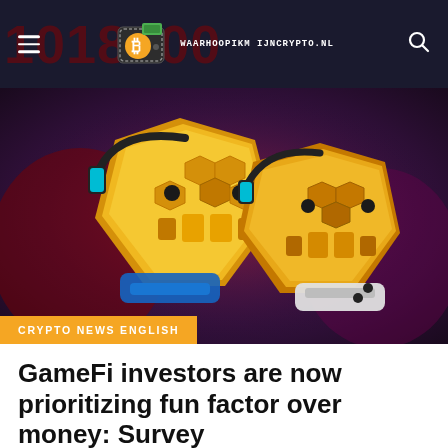WAARHOOPIKM IJNCRYPTO.NL
[Figure (illustration): Two cartoon gold Bitcoin coins wearing gaming headsets and holding game controllers against a dark purple/red background. They have geometric honeycomb patterns on their faces and glowing eyes. A orange banner at the bottom left reads CRYPTO NEWS ENGLISH.]
CRYPTO NEWS ENGLISH
GameFi investors are now prioritizing fun factor over money: Survey